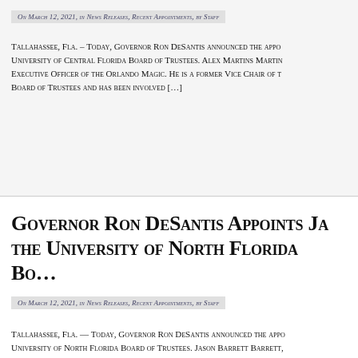On March 12, 2021, in News Releases, Recent Appointments, by Staff
Tallahassee, Fla. – Today, Governor Ron DeSantis announced the appointment to the University of Central Florida Board of Trustees. Alex Martins Martins is the Chief Executive Officer of the Orlando Magic. He is a former Vice Chair of the Board of Trustees and has been involved […]
Governor Ron DeSantis Appoints Ja… the University of North Florida Bo…
On March 12, 2021, in News Releases, Recent Appointments, by Staff
Tallahassee, Fla. — Today, Governor Ron DeSantis announced the appointment to the University of North Florida Board of Trustees. Jason Barrett Barrett, Chief Executive Officer of Flagler Health+. Previously, he held senior roles including President, Chief Administrative Officer, Chief Integration Off…